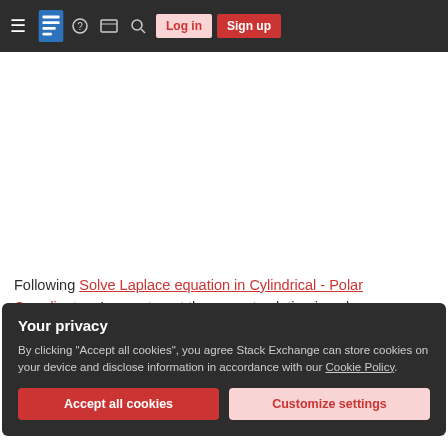Stack Exchange navigation bar with hamburger menu, logo, help, chat, search, Log in, Sign up
[Figure (engineering-diagram): Circular mesh diagram (finite element mesh) showing a disc with triangular mesh elements, light blue fill with dark gray mesh lines, partial view cropped at top]
Following Solve Laplace equation in Cylindrical - Polar Coordinates, I seem to get the correct solution in polar coordinates but not in Cartesian coordinates
Your privacy
By clicking "Accept all cookies", you agree Stack Exchange can store cookies on your device and disclose information in accordance with our Cookie Policy.
Accept all cookies
Customize settings